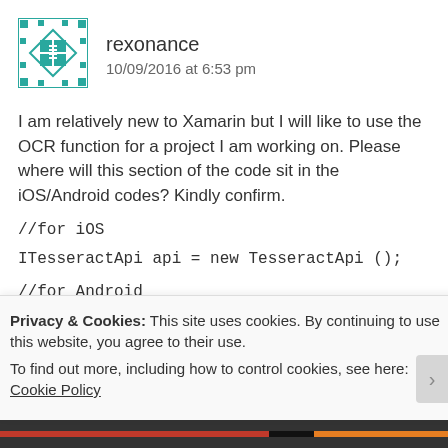[Figure (illustration): Geometric teal/green avatar icon with diamond and square patterns]
rexonance
10/09/2016 at 6:53 pm
I am relatively new to Xamarin but I will like to use the OCR function for a project I am working on. Please where will this section of the code sit in the iOS/Android codes? Kindly confirm.
//for iOS
ITesseractApi api = new TesseractApi ();
//for Android
ITesseractApi api = new TesseractApi (context);
Privacy & Cookies: This site uses cookies. By continuing to use this website, you agree to their use.
To find out more, including how to control cookies, see here: Cookie Policy
Close and accept